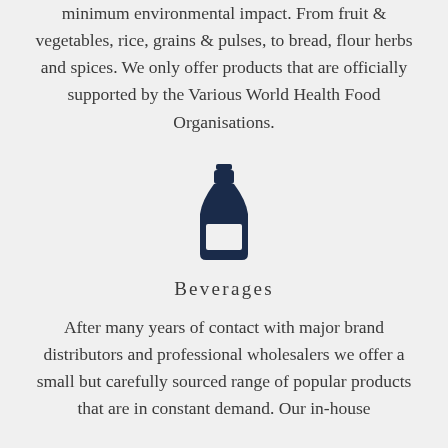minimum environmental impact. From fruit & vegetables, rice, grains & pulses, to bread, flour herbs and spices. We only offer products that are officially supported by the Various World Health Food Organisations.
[Figure (illustration): Dark navy blue icon of a bottle (wine/sauce bottle shape) centered on the page]
Beverages
After many years of contact with major brand distributors and professional wholesalers we offer a small but carefully sourced range of popular products that are in constant demand. Our in-house